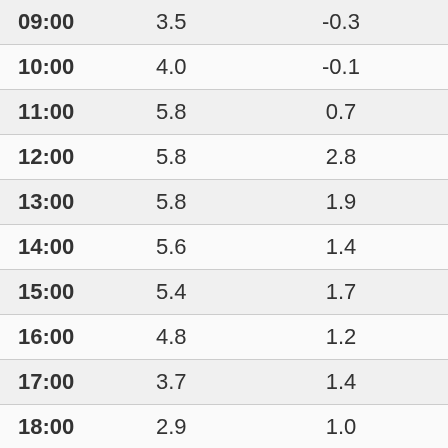| Time | Col2 | Col3 | Col4 |
| --- | --- | --- | --- |
| 09:00 | 3.5 | -0.3 | 76 |
| 10:00 | 4.0 | -0.1 | 75 |
| 11:00 | 5.8 | 0.7 | 70 |
| 12:00 | 5.8 | 2.8 | 81 |
| 13:00 | 5.8 | 1.9 | 76 |
| 14:00 | 5.6 | 1.4 | 74 |
| 15:00 | 5.4 | 1.7 | 77 |
| 16:00 | 4.8 | 1.2 | 77 |
| 17:00 | 3.7 | 1.4 | 85 |
| 18:00 | 2.9 | 1.0 | 87 |